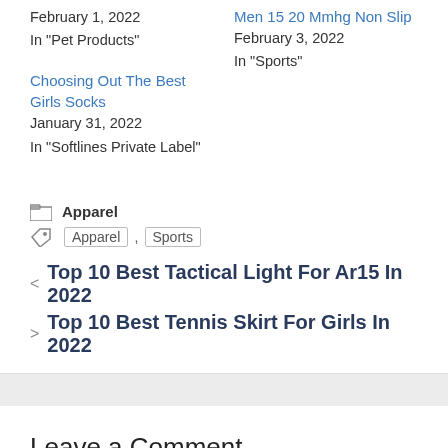February 1, 2022
In "Pet Products"
Men 15 20 Mmhg Non Slip
February 3, 2022
In "Sports"
Choosing Out The Best Girls Socks
January 31, 2022
In "Softlines Private Label"
Apparel
Apparel , Sports
Top 10 Best Tactical Light For Ar15 In 2022
Top 10 Best Tennis Skirt For Girls In 2022
Leave a Comment